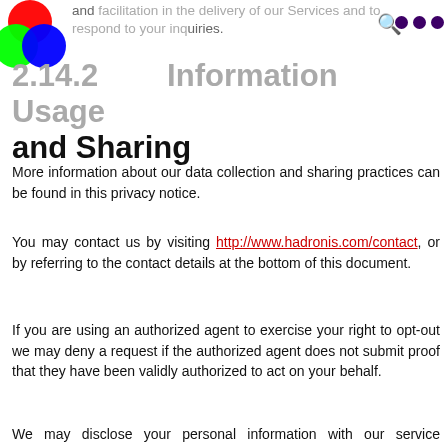and facilitation in the delivery of our Services and to respond to your inquiries.
2.14.2 Information Usage and Sharing
More information about our data collection and sharing practices can be found in this privacy notice.
You may contact us by visiting http://www.hadronis.com/contact, or by referring to the contact details at the bottom of this document.
If you are using an authorized agent to exercise your right to opt-out we may deny a request if the authorized agent does not submit proof that they have been validly authorized to act on your behalf.
We may disclose your personal information with our service providers pursuant to a written contract